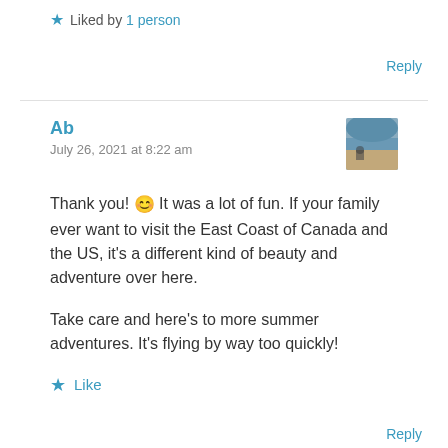★ Liked by 1 person
Reply
Ab
July 26, 2021 at 8:22 am
[Figure (photo): Small avatar photo showing a person on a beach or shoreline]
Thank you! 😊 It was a lot of fun. If your family ever want to visit the East Coast of Canada and the US, it's a different kind of beauty and adventure over here.

Take care and here's to more summer adventures. It's flying by way too quickly!
★ Like
Reply